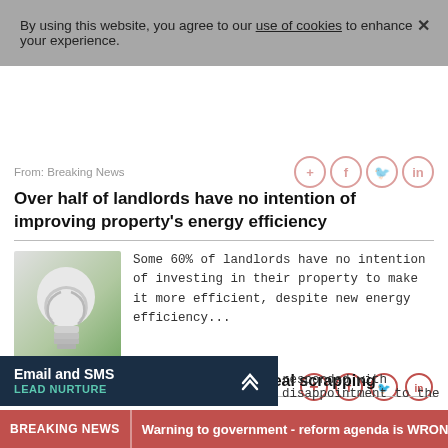By using this website, you agree to our use of cookies to enhance your experience.
From: Breaking News
Over half of landlords have no intention of improving property's energy efficiency
[Figure (photo): A white energy-saving CFL bulb against a green outdoor background]
Some 60% of landlords have no intention of investing in their property to make it more efficient, despite new energy efficiency...
20 August 2015
From: Breaking News
Industry thumbs-down to Green Deal scrapping
responded with disappointment to the
Email and SMS LEAD NURTURE
BREAKING NEWS  Warning to government - reform agenda is WRON